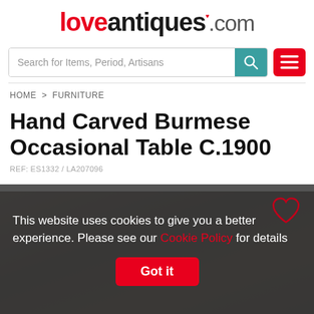loveantiques.com
Search for Items, Period, Artisans
HOME > FURNITURE
Hand Carved Burmese Occasional Table C.1900
REF: ES1332 / LA207096
[Figure (photo): Dark antique carved Burmese occasional table viewed from above, c.1900]
This website uses cookies to give you a better experience. Please see our Cookie Policy for details
Got it